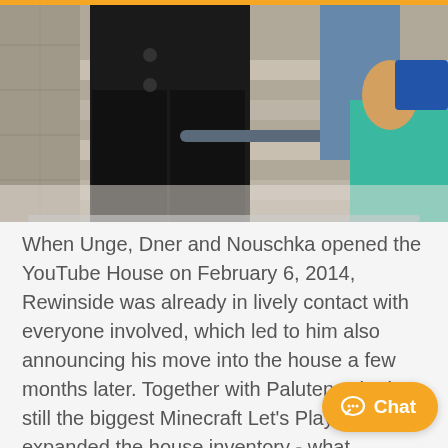[Figure (photo): Photo showing a person in black jeans and black jacket leaning against stadium bleacher steps; background shows blue stadium seats and a girl in a teal/green shirt]
When Unge, Dner and Nouschka opened the YouTube House on February 6, 2014, Rewinside was already in lively contact with everyone involved, which led to him also announcing his move into the house a few months later. Together with Paluten, who is still the biggest Minecraft Let's Player, he expanded the house inventory - what followed was probably the first big YouTub... in Germany. The residents of the house cr... unique content together, hosted live streams, and